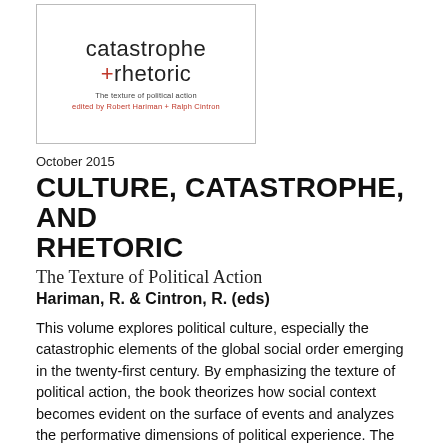[Figure (illustration): Book cover for 'catastrophe + rhetoric: The texture of political action', edited by Robert Hariman + Ralph Cintron, with a white background and red plus sign accent.]
October 2015
CULTURE, CATASTROPHE, AND RHETORIC
The Texture of Political Action
Hariman, R. & Cintron, R. (eds)
This volume explores political culture, especially the catastrophic elements of the global social order emerging in the twenty-first century. By emphasizing the texture of political action, the book theorizes how social context becomes evident on the surface of events and analyzes the performative dimensions of political experience. The attention to catastrophe allows for an understanding of how ordinary people contend with normal system operation once it is indistinguishable from system breakdown. Through an array of case studies, the book provides an account of change as it is experienced